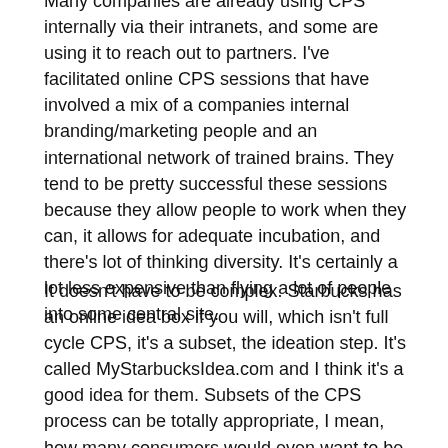Many companies are already using CPS internally via their intranets, and some are using it to reach out to partners. I've facilitated online CPS sessions that have involved a mix of a companies internal branding/marketing people and an international network of trained brains. They tend to be pretty successful these sessions because they allow people to work when they can, it allows for adequate incubation, and there's lot of thinking diversity. It's certainly a lot less expensive than flying a lot of people into some central site.
It doesn't have to be complex. Starbucks has an online idea box if you will, which isn't full cycle CPS, it's a subset, the ideation step. It's called MyStarbucksIdea.com and I think it's a good idea for them. Subsets of the CPS process can be totally appropriate, I mean, how many consumers would even want to be involved with the detailed planning that goes into a product launch?